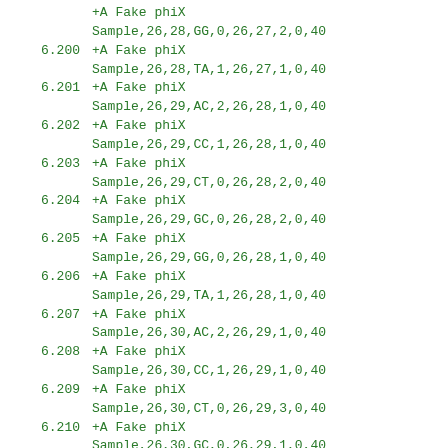+A Fake phiX
Sample,26,28,GG,0,26,27,2,0,40
6.200  +A Fake phiX
Sample,26,28,TA,1,26,27,1,0,40
6.201  +A Fake phiX
Sample,26,29,AC,2,26,28,1,0,40
6.202  +A Fake phiX
Sample,26,29,CC,1,26,28,1,0,40
6.203  +A Fake phiX
Sample,26,29,CT,0,26,28,2,0,40
6.204  +A Fake phiX
Sample,26,29,GC,0,26,28,2,0,40
6.205  +A Fake phiX
Sample,26,29,GG,0,26,28,1,0,40
6.206  +A Fake phiX
Sample,26,29,TA,1,26,28,1,0,40
6.207  +A Fake phiX
Sample,26,30,AC,2,26,29,1,0,40
6.208  +A Fake phiX
Sample,26,30,CC,1,26,29,1,0,40
6.209  +A Fake phiX
Sample,26,30,CT,0,26,29,3,0,40
6.210  +A Fake phiX
Sample,26,30,GC,0,26,29,1,0,40
6.211  +A Fake phiX
Sample,26,30,TA,1,26,29,2,0,40
6.212  +A Fake phiX
Sample,26,31,AC,2,26,30,1,0,40
6.213  +A Fake phiX
Sample,26,31,CC,1,26,30,1,0,40
6.214  +A Fake phiX